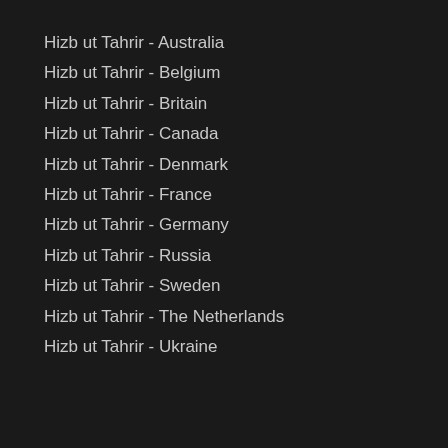Hizb ut Tahrir - Australia
Hizb ut Tahrir - Belgium
Hizb ut Tahrir - Britain
Hizb ut Tahrir - Canada
Hizb ut Tahrir - Denmark
Hizb ut Tahrir - France
Hizb ut Tahrir - Germany
Hizb ut Tahrir - Russia
Hizb ut Tahrir - Sweden
Hizb ut Tahrir - The Netherlands
Hizb ut Tahrir - Ukraine